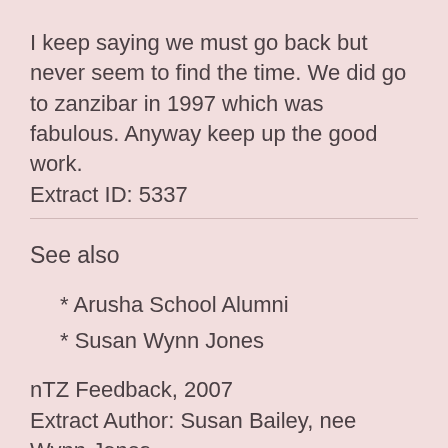I keep saying we must go back but never seem to find the time. We did go to zanzibar in 1997 which was fabulous. Anyway keep up the good work.
Extract ID: 5337
See also
* Arusha School Alumni
* Susan Wynn Jones
nTZ Feedback, 2007
Extract Author: Susan Bailey, nee Wynn Jones
Page Number: 2007-02-26